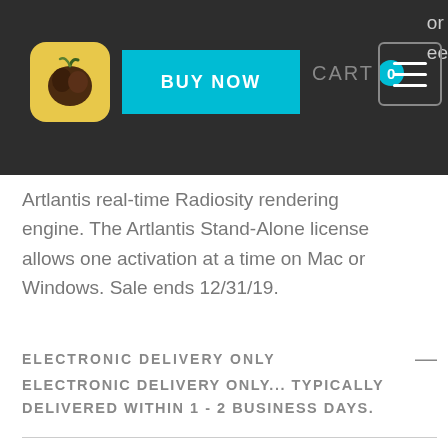[Figure (screenshot): Navigation bar with app logo, BUY NOW button, CART with badge showing 0, and hamburger menu icon on dark background]
Artlantis real-time Radiosity rendering engine. The Artlantis Stand-Alone license allows one activation at a time on Mac or Windows. Sale ends 12/31/19.
ELECTRONIC DELIVERY ONLY —
ELECTRONIC DELIVERY ONLY... TYPICALLY DELIVERED WITHIN 1 - 2 BUSINESS DAYS.
STORE POLICY/RETURNS +